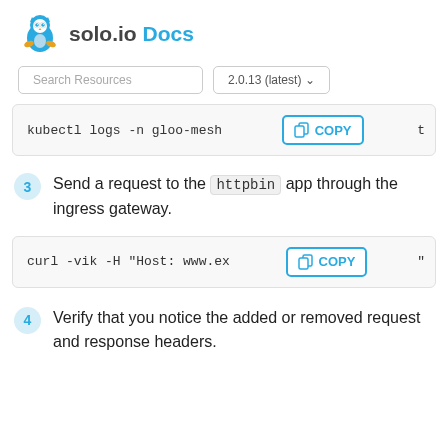solo.io Docs
Search Resources | 2.0.13 (latest)
kubectl logs -n gloo-mesh  [COPY] t
3  Send a request to the httpbin app through the ingress gateway.
curl -vik -H "Host: www.ex  [COPY] "
4  Verify that you notice the added or removed request and response headers.